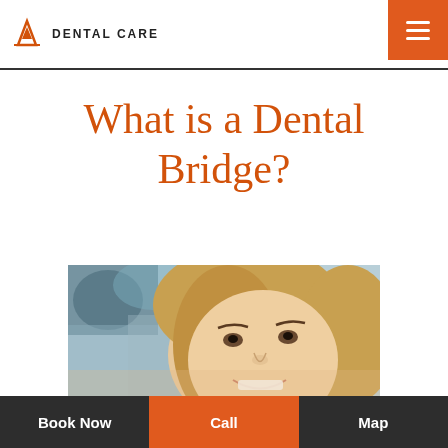DENTAL CARE
What is a Dental Bridge?
[Figure (photo): A smiling young woman with blonde hair at a dental clinic, with a dental professional in the background holding equipment.]
Book Now | Call | Map